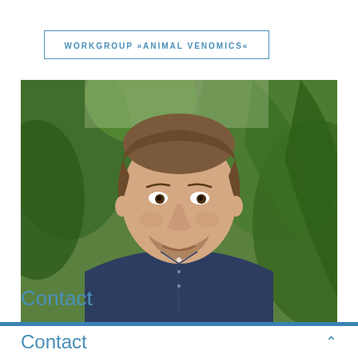WORKGROUP »ANIMAL VENOMICS«
[Figure (photo): Portrait photo of a young man with short brown hair, wearing a dark navy blue button-up shirt, standing in front of green tropical foliage/plants background. He has a short beard and is smiling slightly.]
Contact
Contact